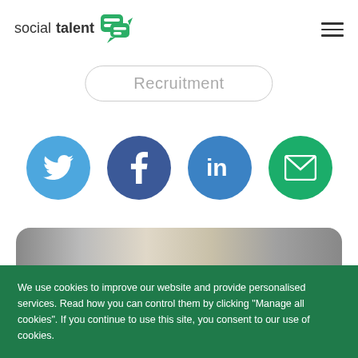socialtalent [logo] [hamburger menu]
Recruitment
[Figure (infographic): Four social media sharing icons in circles: Twitter (sky blue), Facebook (dark blue), LinkedIn (blue), Email (green)]
[Figure (photo): Partial photo of food/cookies visible behind cookie consent banner]
We use cookies to improve our website and provide personalised services. Read how you can control them by clicking "Manage all cookies". If you continue to use this site, you consent to our use of cookies.
Reject All   Manage all cookies   Accept all cookies